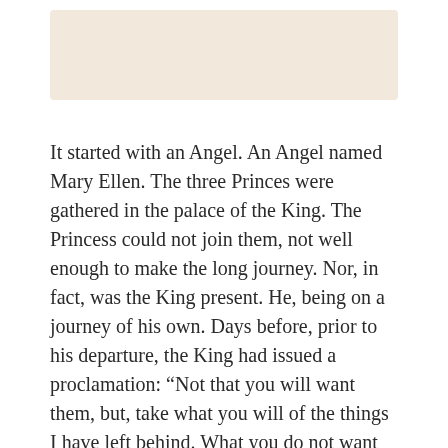[Figure (illustration): A beige/cream colored rectangular image placeholder at the top of the page]
It started with an Angel. An Angel named Mary Ellen. The three Princes were gathered in the palace of the King. The Princess could not join them, not well enough to make the long journey. Nor, in fact, was the King present. He, being on a journey of his own. Days before, prior to his departure, the King had issued a proclamation: “Not that you will want them, but, take what you will of the things I have left behind. What you do not want give to the people as a token of goodwill.”
The three princes found themselves surrounded by untold treasures left abandoned in the